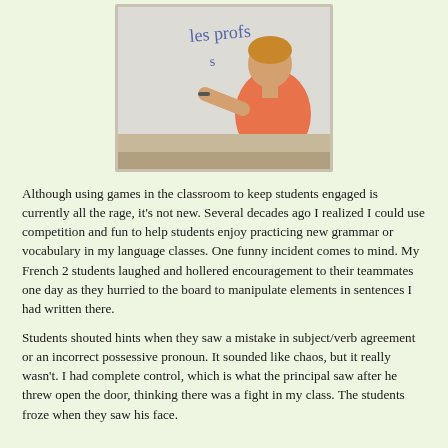[Figure (photo): A teacher in a pink/coral shirt writing on a whiteboard. Text visible on the board reads 'les profs'. The teacher is facing the board and writing with a marker.]
Although using games in the classroom to keep students engaged is currently all the rage, it's not new. Several decades ago I realized I could use competition and fun to help students enjoy practicing new grammar or vocabulary in my language classes. One funny incident comes to mind. My French 2 students laughed and hollered encouragement to their teammates one day as they hurried to the board to manipulate elements in sentences I had written there.
Students shouted hints when they saw a mistake in subject/verb agreement or an incorrect possessive pronoun. It sounded like chaos, but it really wasn't. I had complete control, which is what the principal saw after he threw open the door, thinking there was a fight in my class. The students froze when they saw his face.